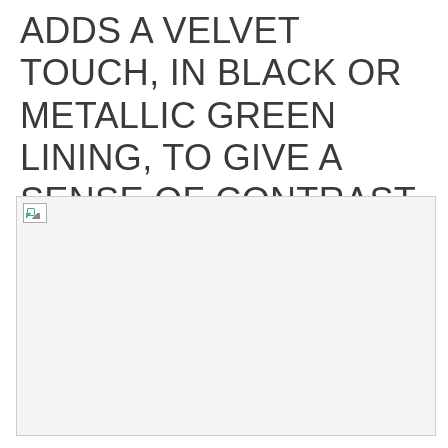ADDS A VELVET TOUCH, IN BLACK OR METALLIC GREEN LINING, TO GIVE A SENSE OF CONTRAST AND SUBTLETY EVERY TIME THE ACCESSORY IS OPENED.
[Figure (photo): A broken/unloaded image placeholder occupying the lower portion of the page, shown as a small image icon in the top-left corner of a light grey bordered area.]